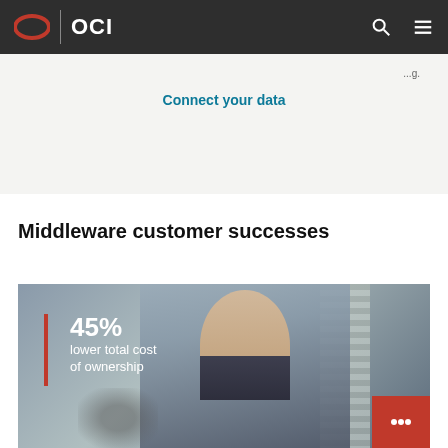OCI
Connect your data
Middleware customer successes
[Figure (photo): Video thumbnail showing a man wearing glasses in a business setting with overlay text: 45% lower total cost of ownership]